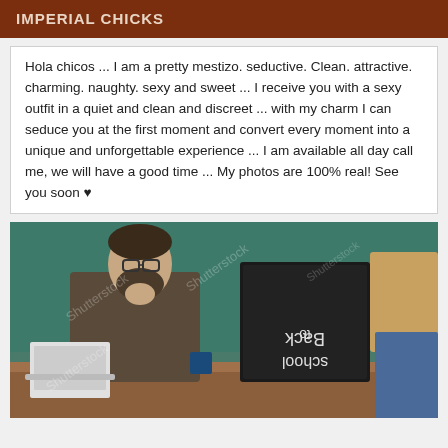IMPERIAL CHICKS
Hola chicos ... I am a pretty mestizo. seductive. Clean. attractive. charming. naughty. sexy and sweet ... I receive you with a sexy outfit in a quiet and clean and discreet ... with my charm I can seduce you at the first moment and convert every moment into a unique and unforgettable experience ... I am available all day call me, we will have a good time ... My photos are 100% real! See you soon ♥
[Figure (photo): A man with a beard and glasses sits at a desk with a laptop, looking at a woman holding a chalkboard that reads 'Back to school' (mirrored). Classroom setting with green chalkboard in background. Watermark text visible.]